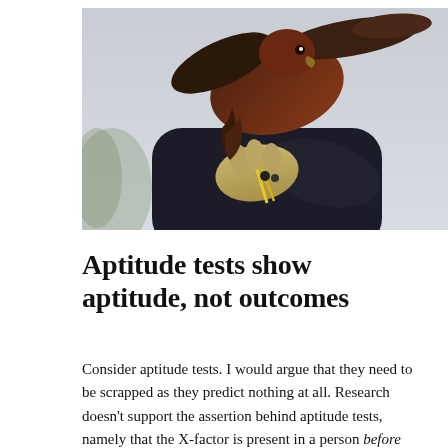[Figure (photo): A person in a dark jacket holding a large bird of prey (hawk or falcon) on a gloved hand with a yellow falconry glove. The bird has reddish-brown and dark feathers. The background is a muted light grey sky.]
Aptitude tests show aptitude, not outcomes
Consider aptitude tests. I would argue that they need to be scrapped as they predict nothing at all. Research doesn't support the assertion behind aptitude tests, namely that the X-factor is present in a person before they put in the work required in a particular field. I also want to prevent anyone